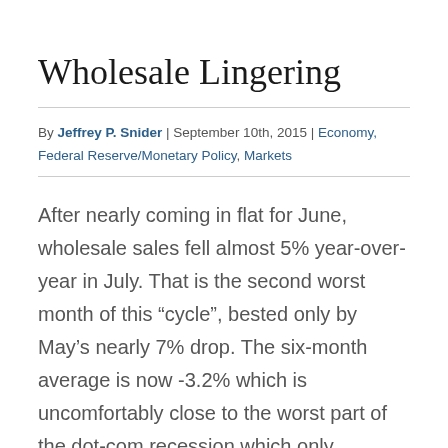Wholesale Lingering
By Jeffrey P. Snider | September 10th, 2015 | Economy, Federal Reserve/Monetary Policy, Markets
After nearly coming in flat for June, wholesale sales fell almost 5% year-over-year in July. That is the second worst month of this “cycle”, bested only by May’s nearly 7% drop. The six-month average is now -3.2% which is uncomfortably close to the worst part of the dot-com recession which only averaged -4.0% at the low. Despite that sales environment, inventories continue to expand. Year...